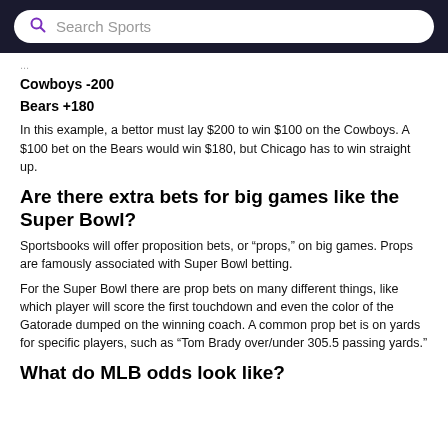Search Sports
Cowboys -200
Bears +180
In this example, a bettor must lay $200 to win $100 on the Cowboys. A $100 bet on the Bears would win $180, but Chicago has to win straight up.
Are there extra bets for big games like the Super Bowl?
Sportsbooks will offer proposition bets, or "props," on big games. Props are famously associated with Super Bowl betting.
For the Super Bowl there are prop bets on many different things, like which player will score the first touchdown and even the color of the Gatorade dumped on the winning coach. A common prop bet is on yards for specific players, such as "Tom Brady over/under 305.5 passing yards."
What do MLB odds look like?